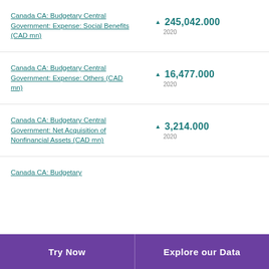Canada CA: Budgetary Central Government: Expense: Social Benefits (CAD mn) ▲ 245,042.000 2020
Canada CA: Budgetary Central Government: Expense: Others (CAD mn) ▲ 16,477.000 2020
Canada CA: Budgetary Central Government: Net Acquisition of Nonfinancial Assets (CAD mn) ▲ 3,214.000 2020
Canada CA: Budgetary...
Try Now   Explore our Data